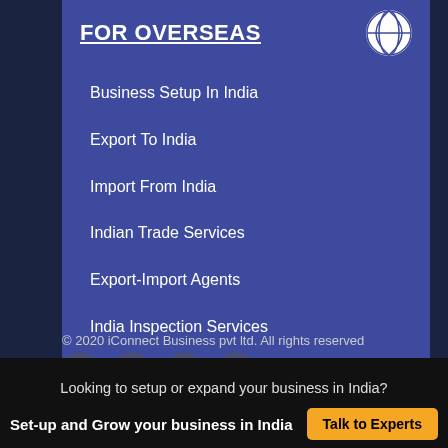FOR OVERSEAS
Business Setup In India
Export To India
Import From India
Indian Trade Services
Export-Import Agents
India Inspection Services
© 2020 iConnect Business pvt ltd. All rights reserved
Looking to setup or expand your business in India?
Set-up and Grow your business in India   Talk to Experts